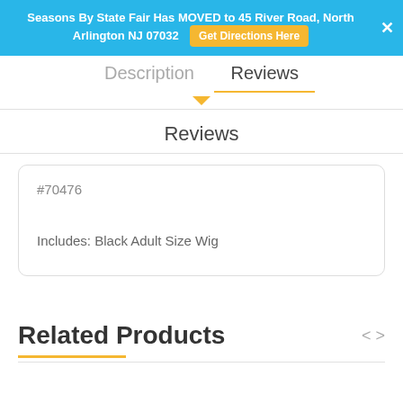Seasons By State Fair Has MOVED to 45 River Road, North Arlington NJ 07032  Get Directions Here
Description
Reviews
#70476

Includes: Black Adult Size Wig
Related Products